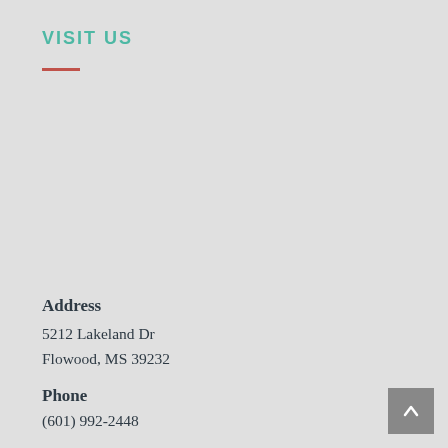VISIT US
Address
5212 Lakeland Dr
Flowood, MS 39232
Phone
(601) 992-2448